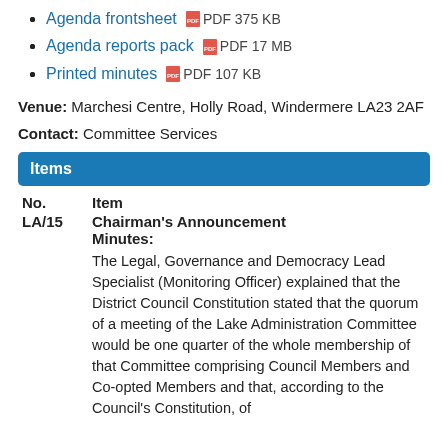Agenda frontsheet PDF 375 KB
Agenda reports pack PDF 17 MB
Printed minutes PDF 107 KB
Venue: Marchesi Centre, Holly Road, Windermere LA23 2AF
Contact: Committee Services
Items
| No. | Item |
| --- | --- |
| LA/15 | Chairman's Announcement
Minutes:
The Legal, Governance and Democracy Lead Specialist (Monitoring Officer) explained that the District Council Constitution stated that the quorum of a meeting of the Lake Administration Committee would be one quarter of the whole membership of that Committee comprising Council Members and Co-opted Members and that, according to the Council's Constitution, of |